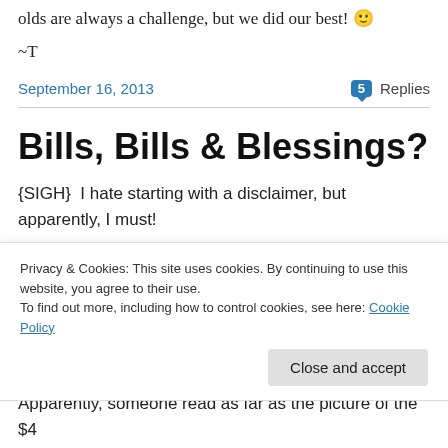olds are always a challenge, but we did our best! 🙂
~T
September 16, 2013   💬 5 Replies
Bills, Bills & Blessings?
{SIGH}  I hate starting with a disclaimer, but apparently, I must!
Privacy & Cookies: This site uses cookies. By continuing to use this website, you agree to their use.
To find out more, including how to control cookies, see here: Cookie Policy
Apparently, someone read as far as the picture of the $4